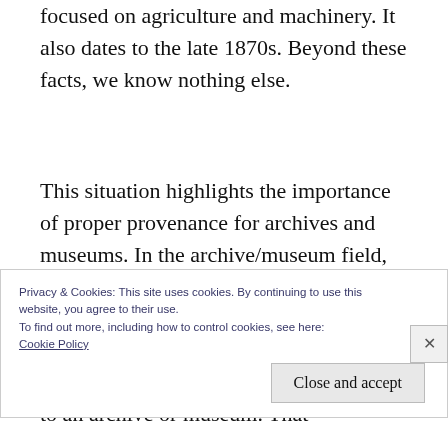focused on agriculture and machinery. It also dates to the late 1870s. Beyond these facts, we know nothing else.
This situation highlights the importance of proper provenance for archives and museums. In the archive/museum field, provenance is the origin of something, or the path that an item will take to come into archives/museums. For example, a person may buy something then donate it to an archive or museum. That
Privacy & Cookies: This site uses cookies. By continuing to use this website, you agree to their use.
To find out more, including how to control cookies, see here:
Cookie Policy